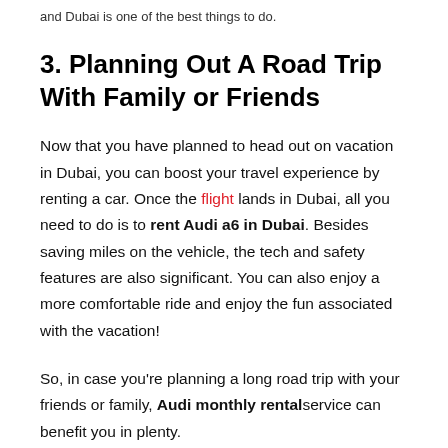and Dubai is one of the best things to do.
3. Planning Out A Road Trip With Family or Friends
Now that you have planned to head out on vacation in Dubai, you can boost your travel experience by renting a car. Once the flight lands in Dubai, all you need to do is to rent Audi a6 in Dubai. Besides saving miles on the vehicle, the tech and safety features are also significant. You can also enjoy a more comfortable ride and enjoy the fun associated with the vacation!
So, in case you're planning a long road trip with your friends or family, Audi monthly rental service can benefit you in plenty.